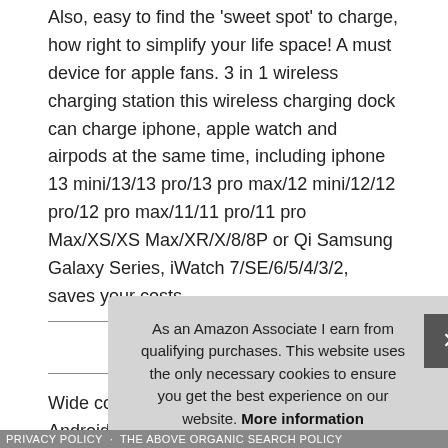Also, easy to find the 'sweet spot' to charge, how right to simplify your life space! A must device for apple fans. 3 in 1 wireless charging station this wireless charging dock can charge iphone, apple watch and airpods at the same time, including iphone 13 mini/13/13 pro/13 pro max/12 mini/12/12 pro/12 pro max/11/11 pro/11 pro Max/XS/XS Max/XR/X/8/8P or Qi Samsung Galaxy Series, iWatch 7/SE/6/5/4/3/2, saves your costs.
More information #ad
Wide compatibility to cover all Qi-enabled Android and IOS devices, AirPods Pro/3/2/1. What you'll getthe package includes a 3 in 1 wireless charging station, usb type-c cable, plea... with...
At ly... free...
As an Amazon Associate I earn from qualifying purchases. This website uses the only necessary cookies to ensure you get the best experience on our website. More information